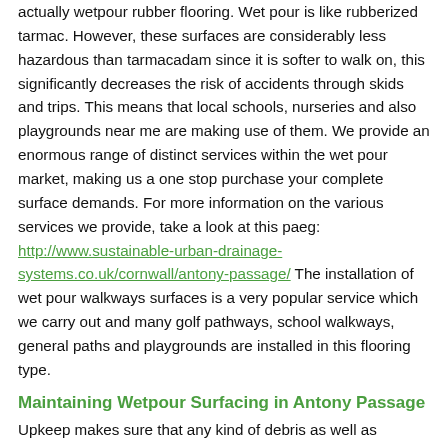actually wetpour rubber flooring. Wet pour is like rubberized tarmac. However, these surfaces are considerably less hazardous than tarmacadam since it is softer to walk on, this significantly decreases the risk of accidents through skids and trips. This means that local schools, nurseries and also playgrounds near me are making use of them. We provide an enormous range of distinct services within the wet pour market, making us a one stop purchase your complete surface demands. For more information on the various services we provide, take a look at this paeg: http://www.sustainable-urban-drainage-systems.co.uk/cornwall/antony-passage/ The installation of wet pour walkways surfaces is a very popular service which we carry out and many golf pathways, school walkways, general paths and playgrounds are installed in this flooring type.
Maintaining Wetpour Surfacing in Antony Passage
Upkeep makes sure that any kind of debris as well as contaminants for the surfacing will be eliminated to stop them from producing issues. If the dirt is well set in, a jet spray service may eliminate tough to attain debris. The wet pour surface is designed to always be permeable, and therefore water can easily pass straight through